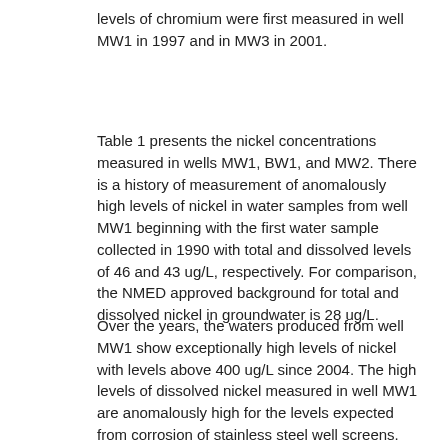levels of chromium were first measured in well MW1 in 1997 and in MW3 in 2001.
Table 1 presents the nickel concentrations measured in wells MW1, BW1, and MW2. There is a history of measurement of anomalously high levels of nickel in water samples from well MW1 beginning with the first water sample collected in 1990 with total and dissolved levels of 46 and 43 ug/L, respectively. For comparison, the NMED approved background for total and dissolved nickel in groundwater is 28 ug/L.
Over the years, the waters produced from well MW1 show exceptionally high levels of nickel with levels above 400 ug/L since 2004. The high levels of dissolved nickel measured in well MW1 are anomalously high for the levels expected from corrosion of stainless steel well screens. Recent research has established that corrosion produces the highest levels of nickel in the early years of onset of corrosion, and in later years the dissolved nickel levels show a large decline. The decline is because of the exceptional properties of the corrosion products encrusted on the well screens to lower the concentration of nickel in water samples produced from the corroded screens. The corrosion products have an iron oxide mineralogy with